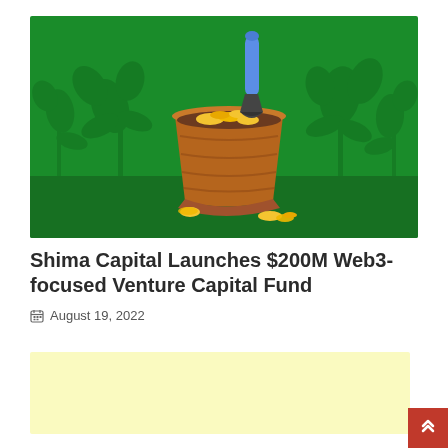[Figure (illustration): Illustration of a terracotta flower pot filled with gold coins and a blue-handled garden trowel/shovel stuck in it. Green background with decorative plant silhouettes. Small gold coins scattered on the ground around the pot base.]
Shima Capital Launches $200M Web3-focused Venture Capital Fund
August 19, 2022
[Figure (other): Yellow/cream colored advertisement block (placeholder)]